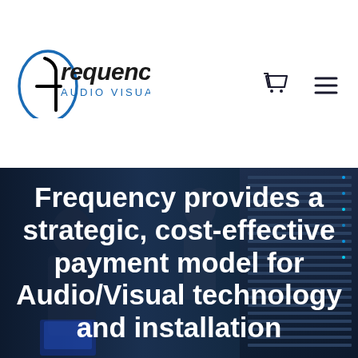[Figure (logo): Frequency Audio Visual logo with stylized f in a circle and blue text]
[Figure (photo): Background photo of technicians working in a server room with blue lighting]
Frequency provides a strategic, cost-effective payment model for Audio/Visual technology and installation